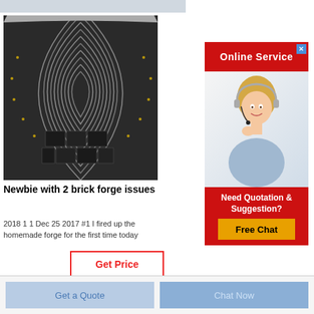[Figure (photo): Industrial forge interior showing concentric metal rings/layers viewed from inside a cylindrical forge, with rectangular black bricks or blocks at the bottom]
Newbie with 2 brick forge issues
2018 1 1 Dec 25 2017 #1 I fired up the homemade forge for the first time today
Get Price
[Figure (infographic): Advertisement panel with red header 'Online Service', photo of blonde woman with headset, and red bottom section with 'Need Quotation & Suggestion?' text and yellow 'Free Chat' button]
Get a Quote
Chat Now